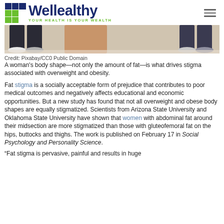Wellealthy — YOUR HEALTH IS YOUR WEALTH
[Figure (photo): Cropped photo showing the lower bodies of people, legs visible, one person appears heavier with tan/brown skin tones, others in jeans with sneakers, on a light flooring surface.]
Credit: Pixabay/CC0 Public Domain
A woman's body shape—not only the amount of fat—is what drives stigma associated with overweight and obesity.
Fat stigma is a socially acceptable form of prejudice that contributes to poor medical outcomes and negatively affects educational and economic opportunities. But a new study has found that not all overweight and obese body shapes are equally stigmatized. Scientists from Arizona State University and Oklahoma State University have shown that women with abdominal fat around their midsection are more stigmatized than those with gluteofemoral fat on the hips, buttocks and thighs. The work is published on February 17 in Social Psychology and Personality Science.
“Fat stigma is pervasive, painful and results in huge